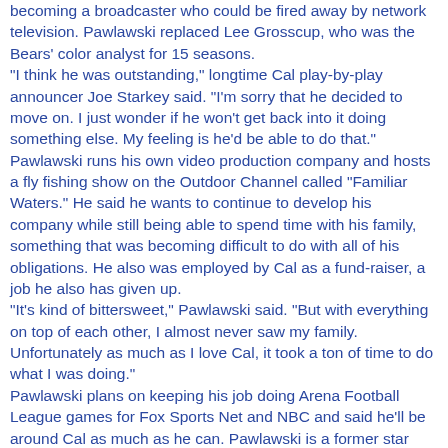becoming a broadcaster who could be fired away by network television. Pawlawski replaced Lee Grosscup, who was the Bears' color analyst for 15 seasons. "I think he was outstanding," longtime Cal play-by-play announcer Joe Starkey said. "I'm sorry that he decided to move on. I just wonder if he won't get back into it doing something else. My feeling is he'd be able to do that." Pawlawski runs his own video production company and hosts a fly fishing show on the Outdoor Channel called "Familiar Waters." He said he wants to continue to develop his company while still being able to spend time with his family, something that was becoming difficult to do with all of his obligations. He also was employed by Cal as a fund-raiser, a job he also has given up. "It's kind of bittersweet," Pawlawski said. "But with everything on top of each other, I almost never saw my family. Unfortunately as much as I love Cal, it took a ton of time to do what I was doing." Pawlawski plans on keeping his job doing Arena Football League games for Fox Sports Net and NBC and said he'll be around Cal as much as he can. Pawlawski is a former star quarterback for the Bears, leading them to the Citrus Bowl in 1991 when he was the Pac-10's Co-Offensive Player of the